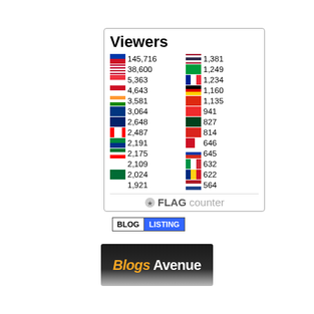[Figure (infographic): Flag Counter widget showing Viewers count by country. Title: Viewers. Left column: Philippines 145,716 | USA 38,600 | Singapore 5,363 | Indonesia 4,643 | India 3,581 | Australia(?) 3,064 | UK 2,648 | Canada 2,487 | Australia 2,191 | UAE 2,175 | Japan 2,109 | Saudi Arabia 2,024 | South Korea 1,921. Right column: Thailand 1,381 | Brazil 1,249 | France 1,234 | Germany 1,160 | China 1,135 | Norway 941 | Pakistan 827 | Vietnam 814 | Bahrain 646 | Russia 645 | Italy 632 | Romania 622 | Netherlands 564. Footer: FLAG counter logo.]
[Figure (screenshot): BLOG LISTING button with white BLOG label and blue LISTING label]
[Figure (logo): Blogs Avenue logo on dark background with silver bar at bottom]